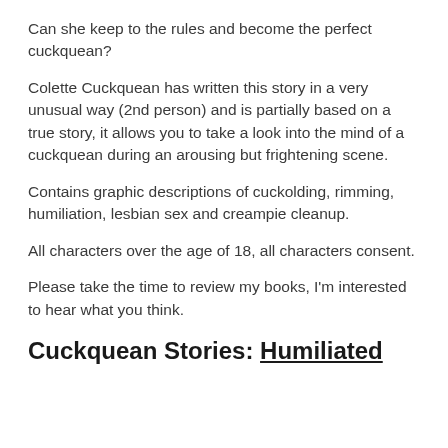Can she keep to the rules and become the perfect cuckquean?
Colette Cuckquean has written this story in a very unusual way (2nd person) and is partially based on a true story, it allows you to take a look into the mind of a cuckquean during an arousing but frightening scene.
Contains graphic descriptions of cuckolding, rimming, humiliation, lesbian sex and creampie cleanup.
All characters over the age of 18, all characters consent.
Please take the time to review my books, I'm interested to hear what you think.
Cuckquean Stories: Humiliated